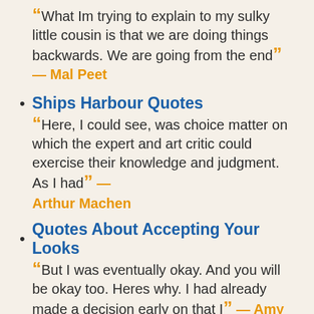“ What Im trying to explain to my sulky little cousin is that we are doing things backwards. We are going from the end ” — Mal Peet
Ships Harbour Quotes
“ Here, I could see, was choice matter on which the expert and art critic could exercise their knowledge and judgment. As I had ” — Arthur Machen
Quotes About Accepting Your Looks
“ But I was eventually okay. And you will be okay too. Heres why. I had already made a decision early on that I ” — Amy Poehler